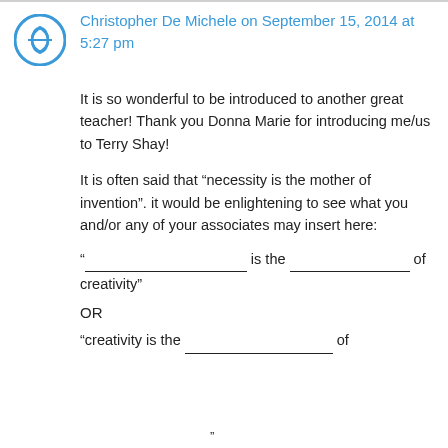Christopher De Michele on September 15, 2014 at 5:27 pm
It is so wonderful to be introduced to another great teacher! Thank you Donna Marie for introducing me/us to Terry Shay!
It is often said that “necessity is the mother of invention”. it would be enlightening to see what you and/or any of your associates may insert here:
“___________________ is the _______________ of creativity”
OR
“creativity is the ___________________ of